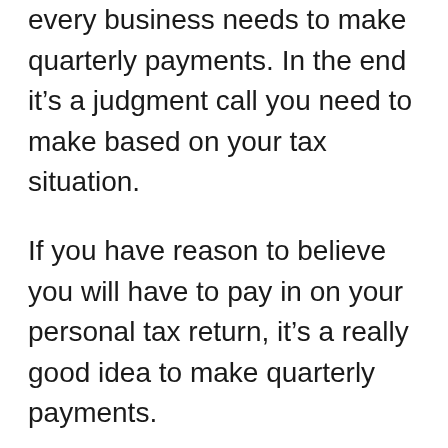every business needs to make quarterly payments. In the end it’s a judgment call you need to make based on your tax situation.
If you have reason to believe you will have to pay in on your personal tax return, it’s a really good idea to make quarterly payments.
The requirement here isn’t about making quarterly payments. It’s about making sure that most of your taxes have been